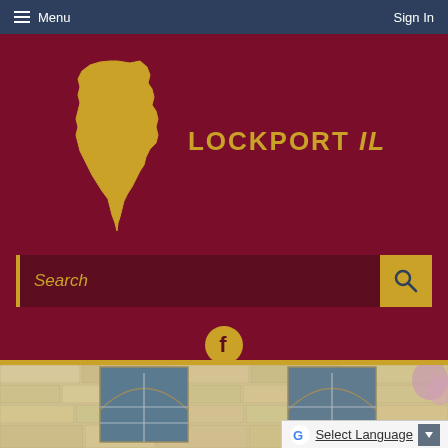Menu | Sign In
[Figure (logo): Lockport IL city logo with Illinois state map outline in gold on dark maroon background, with text LOCKPORT IL]
[Figure (screenshot): Search bar with gold accent and magnifying glass button on dark maroon background]
[Figure (other): Facebook circle icon in gold]
[Figure (photo): Photo of a stone building with arched windows, partially visible text at bottom]
Select Language